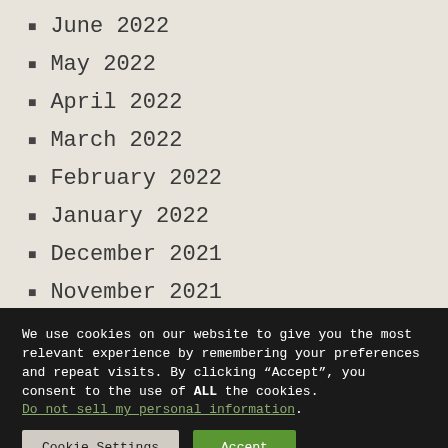June 2022
May 2022
April 2022
March 2022
February 2022
January 2022
December 2021
November 2021
We use cookies on our website to give you the most relevant experience by remembering your preferences and repeat visits. By clicking “Accept”, you consent to the use of ALL the cookies. Do not sell my personal information.
Cookie Settings | Accept